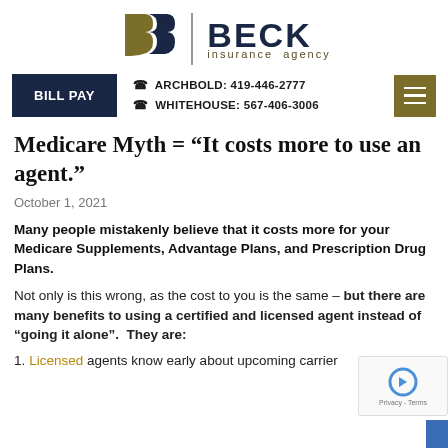[Figure (logo): Beck Insurance Agency logo with stylized B icon and vertical divider]
BILL PAY  |  ARCHBOLD: 419-446-2777  WHITEHOUSE: 567-406-3006
Medicare Myth = “It costs more to use an agent.”
October 1, 2021
Many people mistakenly believe that it costs more for your Medicare Supplements, Advantage Plans, and Prescription Drug Plans.
Not only is this wrong, as the cost to you is the same – but there are many benefits to using a certified and licensed agent instead of “going it alone”.  They are:
Licensed agents know early about upcoming carrier changes and can advise on discontinuations and cost